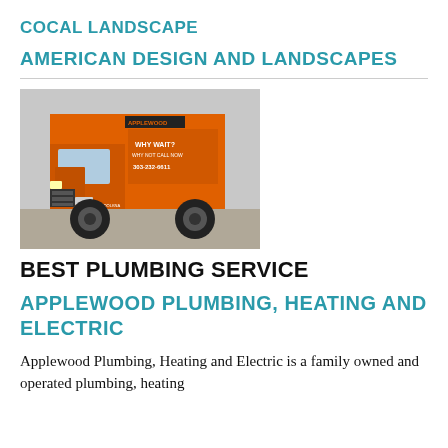COCAL LANDSCAPE
AMERICAN DESIGN AND LANDSCAPES
[Figure (photo): Orange Applewood Plumbing, Heating and Electric service truck with text 'WHY WAIT? WHY NOT CALL NOW' and phone number on the side, parked in a lot.]
BEST PLUMBING SERVICE
APPLEWOOD PLUMBING, HEATING AND ELECTRIC
Applewood Plumbing, Heating and Electric is a family owned and operated plumbing, heating